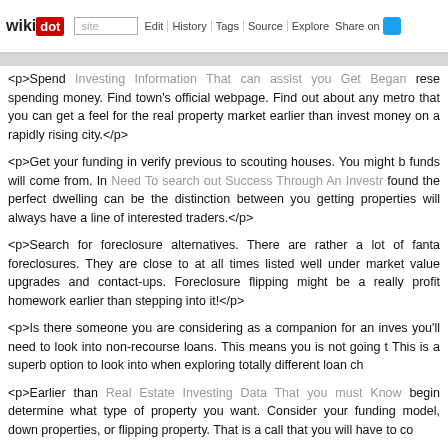wikidot | site | Edit | History | Tags | Source | Explore | Share on Twitter
<p>Spend Investing Information That can assist you Get Began rese spending money. Find town's official webpage. Find out about any metro that you can get a feel for the real property market earlier than invest money on a rapidly rising city.</p>
<p>Get your funding in verify previous to scouting houses. You might b funds will come from. In Need To search out Success Through An Investr found the perfect dwelling can be the distinction between you getting properties will always have a line of interested traders.</p>
<p>Search for foreclosure alternatives. There are rather a lot of fanta foreclosures. They are close to at all times listed well under market value upgrades and contact-ups. Foreclosure flipping might be a really profit homework earlier than stepping into it!</p>
<p>Is there someone you are considering as a companion for an inves you'll need to look into non-recourse loans. This means you is not going t This is a superb option to look into when exploring totally different loan ch
<p>Earlier than Real Estate Investing Data That you must Know begin determine what type of property you want. Consider your funding model, down properties, or flipping property. That is a call that you will have to co
<p>Don't put too much character into your renovation. Investments And y same things that you want. So, keep fashion to a minimum so your buyers
<p>Keep away from investing a lot into your properties right from the be